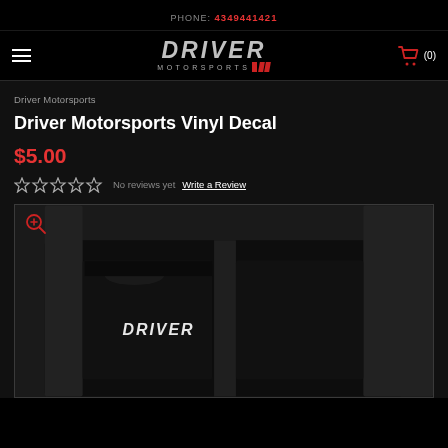PHONE: 4349441421
[Figure (logo): Driver Motorsports logo with stylized italic DRIVER text and MOTORSPORTS below with red stripe accents, and shopping cart icon with (0)]
Driver Motorsports
Driver Motorsports Vinyl Decal
$5.00
No reviews yet  Write a Review
[Figure (photo): Photo of a car window with a Driver Motorsports vinyl decal applied, showing the white DRIVER text on dark glass]